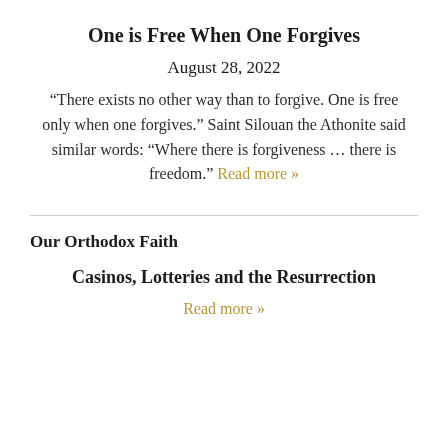One is Free When One Forgives
August 28, 2022
“There exists no other way than to forgive. One is free only when one forgives.” Saint Silouan the Athonite said similar words: “Where there is forgiveness … there is freedom.” Read more »
Our Orthodox Faith
Casinos, Lotteries and the Resurrection
Read more »